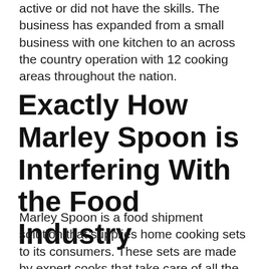active or did not have the skills. The business has expanded from a small business with one kitchen to an across the country operation with 12 cooking areas throughout the nation.
Exactly How Marley Spoon is Interfering With the Food Industry
Marley Spoon is a food shipment solution that supplies home cooking sets to its consumers. These sets are made by expert cooks that take care of all the hard work and let the client appreciate the delicious food.